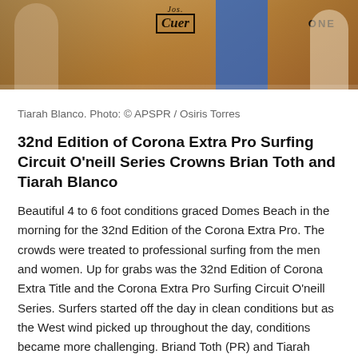[Figure (photo): Photo of people at a surfing event, with Jose Cuervo and O'Neill branding visible in the background. Partial view cropped at top.]
Tiarah Blanco. Photo: © APSPR / Osiris Torres
32nd Edition of Corona Extra Pro Surfing Circuit O'neill Series Crowns Brian Toth and Tiarah Blanco
Beautiful 4 to 6 foot conditions graced Domes Beach in the morning for the 32nd Edition of the Corona Extra Pro. The crowds were treated to professional surfing from the men and women. Up for grabs was the 32nd Edition of Corona Extra Title and the Corona Extra Pro Surfing Circuit O'neill Series. Surfers started off the day in clean conditions but as the West wind picked up throughout the day, conditions became more challenging. Briand Toth (PR) and Tiarah Blanco (PR) were able to come out on top with their champion performances. The Corona Extra Pro